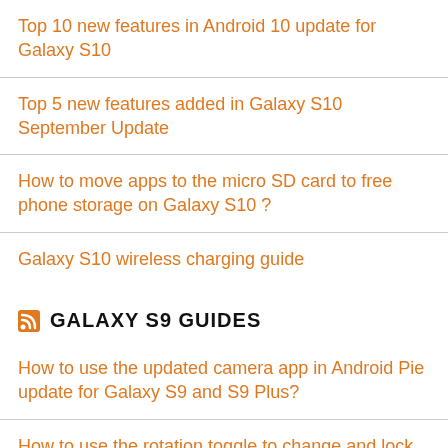Top 10 new features in Android 10 update for Galaxy S10
Top 5 new features added in Galaxy S10 September Update
How to move apps to the micro SD card to free phone storage on Galaxy S10 ?
Galaxy S10 wireless charging guide
GALAXY S9 GUIDES
How to use the updated camera app in Android Pie update for Galaxy S9 and S9 Plus?
How to use the rotation toggle to change and lock screen orientation in Android Pie update for Galaxy